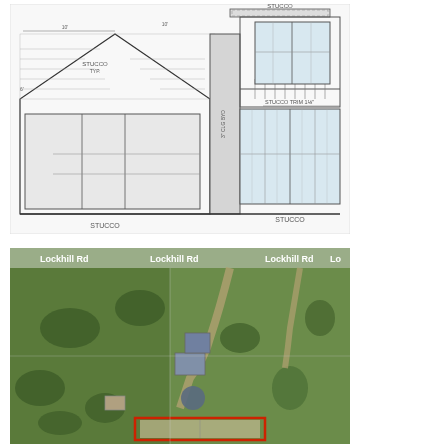[Figure (engineering-diagram): Architectural elevation drawing showing front facade of a building with stone/stucco finish, garage doors on left side, balcony with French doors in center-upper area, and large windows on right side. Labels include STUCCO, STUCCO TRIM 1 1/8, and dimension annotations.]
[Figure (photo): Aerial/satellite view of a property along Lockhill Rd showing green fields, trees, a driveway, and buildings. A red rectangle highlights a structure at the bottom of the image.]